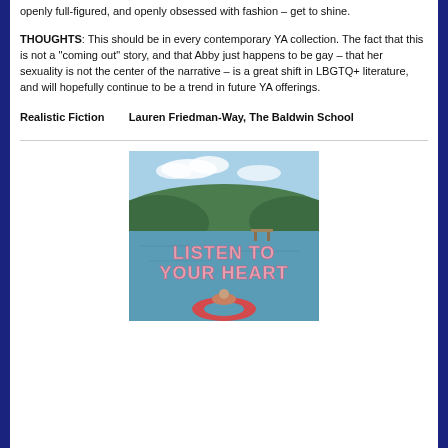openly full-figured, and openly obsessed with fashion – get to shine.
THOUGHTS: This should be in every contemporary YA collection. The fact that this is not a "coming out" story, and that Abby just happens to be gay – that her sexuality is not the center of the narrative – is a great shift in LBGTQ+ literature, and will hopefully continue to be a trend in future YA offerings.
Realistic Fiction        Lauren Friedman-Way, The Baldwin School
[Figure (photo): Book cover of 'Listen to Your Heart' showing a lake scene with trees and hills in the background, text in pink balloon-style letters, and a figure on a red inflatable ring in the foreground.]